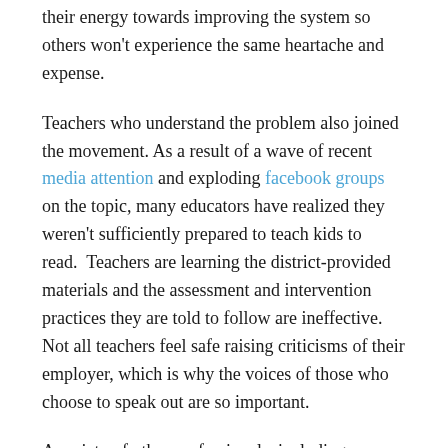their energy towards improving the system so others won't experience the same heartache and expense.
Teachers who understand the problem also joined the movement. As a result of a wave of recent media attention and exploding facebook groups on the topic, many educators have realized they weren't sufficiently prepared to teach kids to read.  Teachers are learning the district-provided materials and the assessment and intervention practices they are told to follow are ineffective. Not all teachers feel safe raising criticisms of their employer, which is why the voices of those who choose to speak out are so important.
A variety of other professionals, including psychologists, a pediatrician, and leaders from business and the public